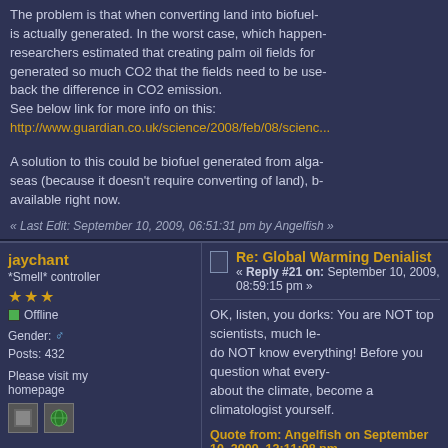The problem is that when converting land into biofuel fields, CO2 is actually generated. In the worst case, which happened in Indonesia, researchers estimated that creating palm oil fields for biofuels generated so much CO2 that the fields need to be used for 840 years to back the difference in CO2 emission.
See below link for more info on this:
http://www.guardian.co.uk/science/2008/feb/08/scienc...
A solution to this could be biofuel generated from algae in the open seas (because it doesn't require converting of land), but it isn't available right now.
« Last Edit: September 10, 2009, 06:51:31 pm by Angelfish »
jaychant
*Smell* controller
Re: Global Warming Denialist
« Reply #21 on: September 10, 2009, 08:59:15 pm »
OK, listen, you dorks: You are NOT top scientists, much less you do NOT know everything! Before you question what every scientist says about the climate, become a climatologist yourself.
Quote from: Angelfish on September 10, 2009, 12:11:08 pm
Unfortunately, using grown biofuels instead of fossil fuels will warm up the e... think you need to restate it again.
Right now, there is no way to diminish the carbon footprint except going ba... transport, or having strict birth control rules (ie. 1 child per family)
OK, stop being a smart ass. You know exactly what I mean... to clean energies instead of oil and coal.
Quote